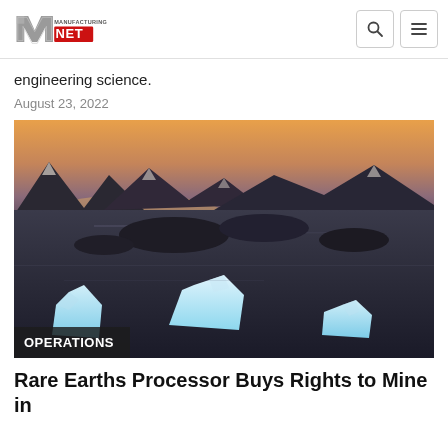Manufacturing.net logo with search and menu icons
engineering science.
August 23, 2022
[Figure (photo): Aerial view of icebergs floating in dark arctic water with mountains and sunset sky in the background. Three large blue-white icebergs are visible in the foreground, with rocky islands and calm reflective water in the middle ground, and snow-capped mountain peaks under an orange-tinted sky in the background.]
OPERATIONS
Rare Earths Processor Buys Rights to Mine in